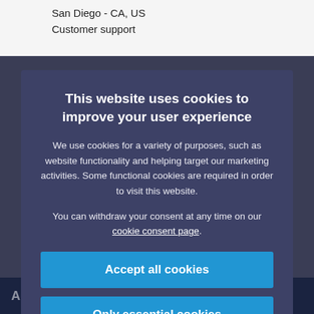| San Diego - CA, US | Customer support |  |
This website uses cookies to improve your user experience
We use cookies for a variety of purposes, such as website functionality and helping target our marketing activities. Some functional cookies are required in order to visit this website.
You can withdraw your consent at any time on our cookie consent page.
Accept all cookies
Only essential cookies
Manage cookie settings →
Apply now
ASML at a glance
History
Products
Technology
Sustainability